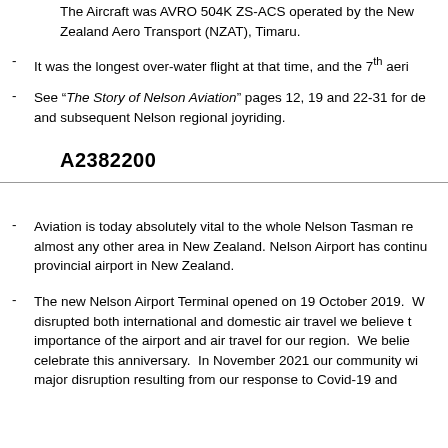The Aircraft was AVRO 504K ZS-ACS operated by the New Zealand Aero Transport (NZAT), Timaru.
It was the longest over-water flight at that time, and the 7th aeri
See “The Story of Nelson Aviation” pages 12, 19 and 22-31 for de and subsequent Nelson regional joyriding.
A2382200
Aviation is today absolutely vital to the whole Nelson Tasman re almost any other area in New Zealand. Nelson Airport has contin provincial airport in New Zealand.
The new Nelson Airport Terminal opened on 19 October 2019. W disrupted both international and domestic air travel we believe t importance of the airport and air travel for our region. We belie celebrate this anniversary. In November 2021 our community wi major disruption resulting from our response to Covid-19 and